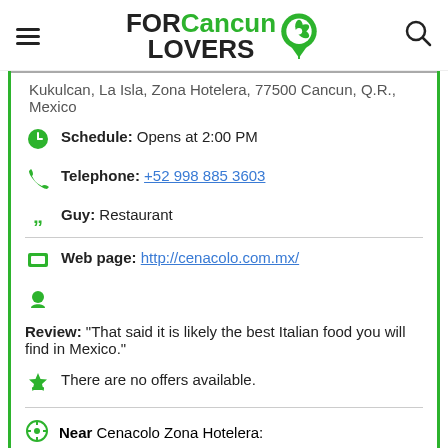FOR Cancun LOVERS
Kukulcan, La Isla, Zona Hotelera, 77500 Cancun, Q.R., Mexico
Schedule: Opens at 2:00 PM
Telephone: +52 998 885 3603
Guy: Restaurant
Web page: http://cenacolo.com.mx/
Review: "That said it is likely the best Italian food you will find in Mexico."
There are no offers available.
Near Cenacolo Zona Hotelera:
a 9 meters away wine stores: La Europea Zona Hotelera